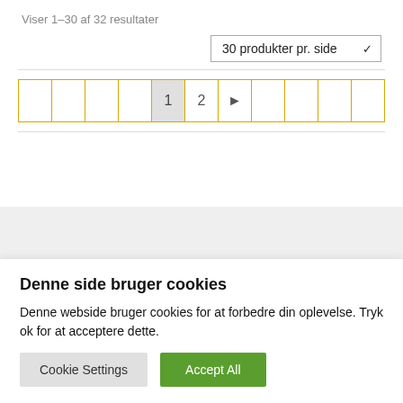Viser 1–30 af 32 resultater
30 produkter pr. side
1  2  ▶
© Nolso Shop 2022
Denne side bruger cookies
Denne webside bruger cookies for at forbedre din oplevelse. Tryk ok for at acceptere dette.
Cookie Settings
Accept All